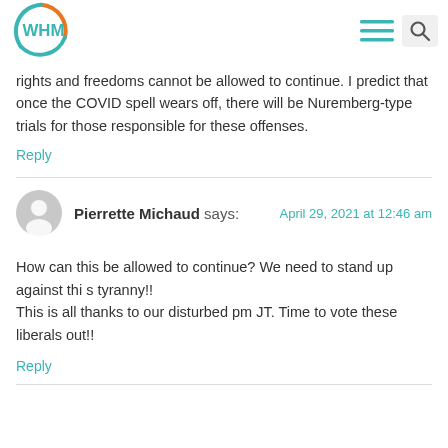[Figure (logo): WHM logo with orange and teal circular swoosh around the letters WHM]
rights and freedoms cannot be allowed to continue. I predict that once the COVID spell wears off, there will be Nuremberg-type trials for those responsible for these offenses.
Reply
Pierrette Michaud says:   April 29, 2021 at 12:46 am
How can this be allowed to continue? We need to stand up against thi s tyranny!!
This is all thanks to our disturbed pm JT. Time to vote these liberals out!!
Reply